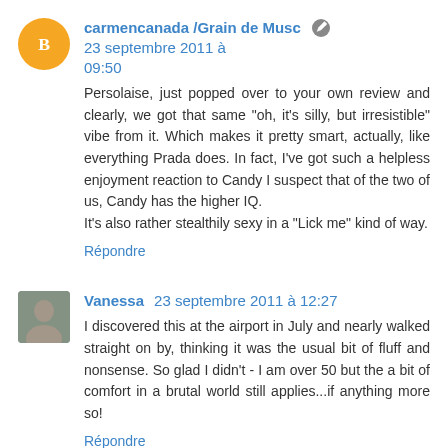carmencanada /Grain de Musc  23 septembre 2011 à 09:50
Persolaise, just popped over to your own review and clearly, we got that same "oh, it's silly, but irresistible" vibe from it. Which makes it pretty smart, actually, like everything Prada does. In fact, I've got such a helpless enjoyment reaction to Candy I suspect that of the two of us, Candy has the higher IQ.
It's also rather stealthily sexy in a "Lick me" kind of way.
Répondre
Vanessa  23 septembre 2011 à 12:27
I discovered this at the airport in July and nearly walked straight on by, thinking it was the usual bit of fluff and nonsense. So glad I didn't - I am over 50 but the a bit of comfort in a brutal world still applies...if anything more so!
Répondre